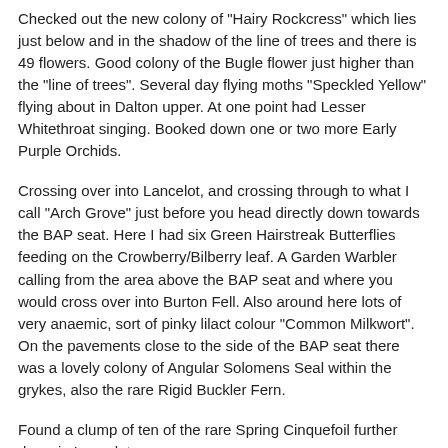Checked out the new colony of "Hairy Rockcress" which lies just below and in the shadow of the line of trees and there is 49 flowers. Good colony of the Bugle flower just higher than the "line of trees". Several day flying moths "Speckled Yellow" flying about in Dalton upper. At one point had Lesser Whitethroat singing. Booked down one or two more Early Purple Orchids.
Crossing over into Lancelot, and crossing through to what I call "Arch Grove" just before you head directly down towards the BAP seat. Here I had six Green Hairstreak Butterflies feeding on the Crowberry/Bilberry leaf. A Garden Warbler calling from the area above the BAP seat and where you would cross over into Burton Fell. Also around here lots of very anaemic, sort of pinky lilact colour "Common Milkwort". On the pavements close to the side of the BAP seat there was a lovely colony of Angular Solomens Seal within the grykes, also the rare Rigid Buckler Fern.
Found a clump of ten of the rare Spring Cinquefoil further down in Lancelot.